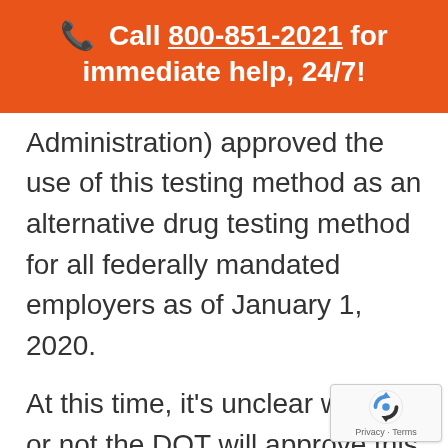📞 Call 800-851-2021 for immediate help, 24/7!
Administration) approved the use of this testing method as an alternative drug testing method for all federally mandated employers as of January 1, 2020.
At this time, it's unclear whether or not the DOT will approve this method into its regulations.
[Figure (logo): reCAPTCHA badge with Privacy and Terms links]